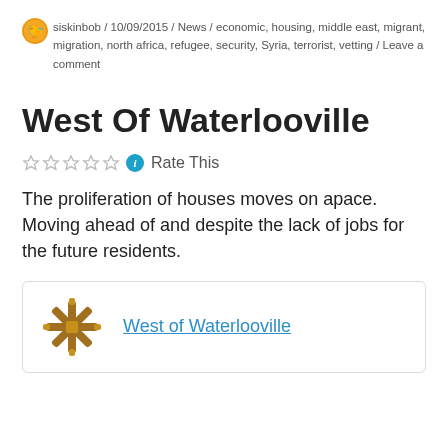siskinbob / 10/09/2015 / News / economic, housing, middle east, migrant, migration, north africa, refugee, security, Syria, terrorist, vetting / Leave a comment
West Of Waterlooville
Rate This
The proliferation of houses moves on apace. Moving ahead of and despite the lack of jobs for the future residents.
West of Waterlooville